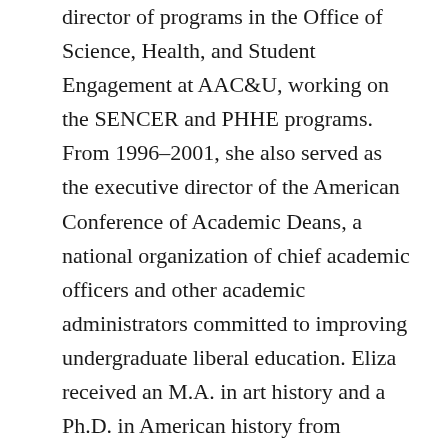director of programs in the Office of Science, Health, and Student Engagement at AAC&U, working on the SENCER and PHHE programs. From 1996–2001, she also served as the executive director of the American Conference of Academic Deans, a national organization of chief academic officers and other academic administrators committed to improving undergraduate liberal education. Eliza received an M.A. in art history and a Ph.D. in American history from Rutgers University and is a Senior Scholar with the SENCER project. She also serves as the general editor and coordinator of the SENCER Model Series.
Marcy has spent more than 20 years in higher